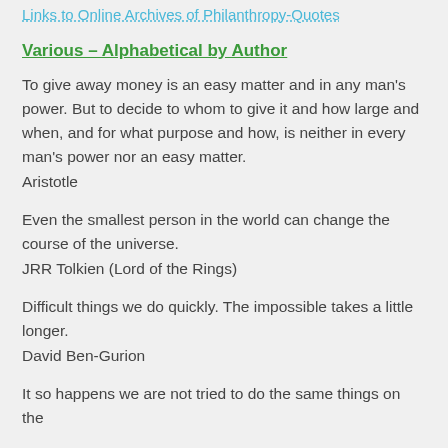Links to Online Archives of Philanthropy-Quotes
Various – Alphabetical by Author
To give away money is an easy matter and in any man's power. But to decide to whom to give it and how large and when, and for what purpose and how, is neither in every man's power nor an easy matter.
Aristotle
Even the smallest person in the world can change the course of the universe.
JRR Tolkien (Lord of the Rings)
Difficult things we do quickly. The impossible takes a little longer.
David Ben-Gurion
It so happens we are not tried to do the same things on the...